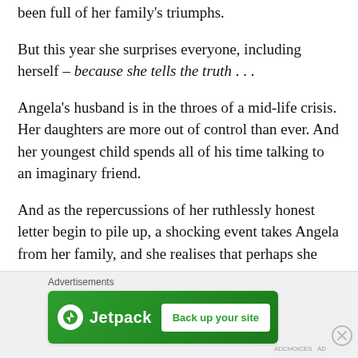been full of her family's triumphs.
But this year she surprises everyone, including herself – because she tells the truth . . .
Angela's husband is in the throes of a mid-life crisis. Her daughters are more out of control than ever. And her youngest child spends all of his time talking to an imaginary friend.
And as the repercussions of her ruthlessly honest letter begin to pile up, a shocking event takes Angela from her family, and she realises that perhaps she
[Figure (other): Jetpack advertisement banner with 'Back up your site' button on green background, labeled 'Advertisements']